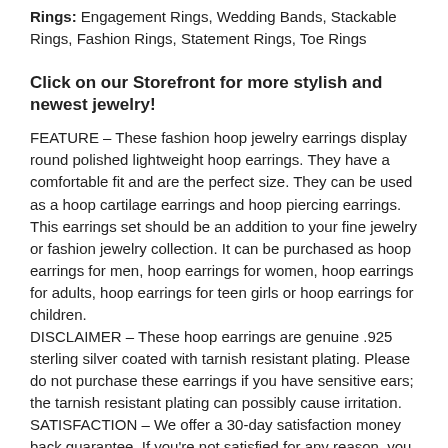Rings: Engagement Rings, Wedding Bands, Stackable Rings, Fashion Rings, Statement Rings, Toe Rings
Click on our Storefront for more stylish and newest jewelry!
FEATURE – These fashion hoop jewelry earrings display round polished lightweight hoop earrings. They have a comfortable fit and are the perfect size. They can be used as a hoop cartilage earrings and hoop piercing earrings. This earrings set should be an addition to your fine jewelry or fashion jewelry collection. It can be purchased as hoop earrings for men, hoop earrings for women, hoop earrings for adults, hoop earrings for teen girls or hoop earrings for children.
DISCLAIMER – These hoop earrings are genuine .925 sterling silver coated with tarnish resistant plating. Please do not purchase these earrings if you have sensitive ears; the tarnish resistant plating can possibly cause irritation.
SATISFACTION – We offer a 30-day satisfaction money back guarantee. If you're not satisfied for any reason, you will receive a full refund upon returning your purchase within 30 days.